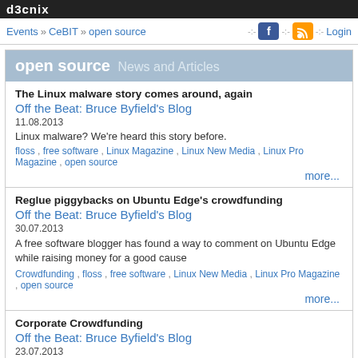d3cnix
Events » CeBIT » open source   Login
open source News and Articles
The Linux malware story comes around, again
Off the Beat: Bruce Byfield's Blog
11.08.2013
Linux malware? We're heard this story before.
floss , free software , Linux Magazine , Linux New Media , Linux Pro Magazine , open source
more...
Reglue piggybacks on Ubuntu Edge's crowdfunding
Off the Beat: Bruce Byfield's Blog
30.07.2013
A free software blogger has found a way to comment on Ubuntu Edge while raising money for a good cause
Crowdfunding , floss , free software , Linux New Media , Linux Pro Magazine , open source
more...
Corporate Crowdfunding
Off the Beat: Bruce Byfield's Blog
23.07.2013